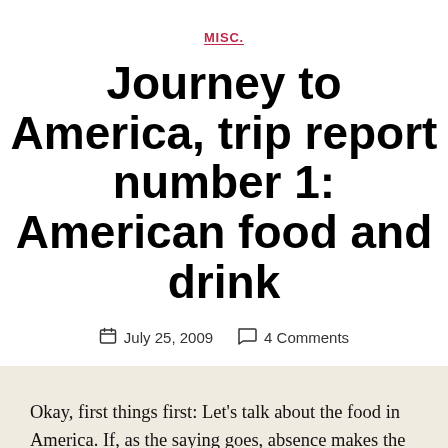MISC.
Journey to America, trip report number 1: American food and drink
July 25, 2009   4 Comments
Okay, first things first: Let's talk about the food in America. If, as the saying goes, absence makes the heart grow fonder, then let me say that after spending just one year in the US since 2002, I have a renewed passion for American foodstuffs.